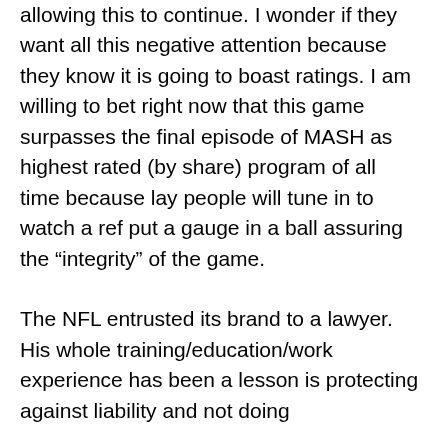allowing this to continue. I wonder if they want all this negative attention because they know it is going to boast ratings. I am willing to bet right now that this game surpasses the final episode of MASH as highest rated (by share) program of all time because lay people will tune in to watch a ref put a gauge in a ball assuring the “integrity” of the game.

The NFL entrusted its brand to a lawyer. His whole training/education/work experience has been a lesson is protecting against liability and not doing